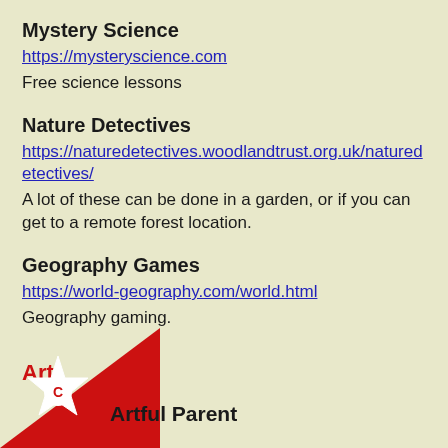Mystery Science
https://mysteryscience.com
Free science lessons
Nature Detectives
https://naturedetectives.woodlandtrust.org.uk/naturedetectives/
A lot of these can be done in a garden, or if you can get to a remote forest location.
Geography Games
https://world-geography.com/world.html
Geography gaming.
Art
Artful Parent